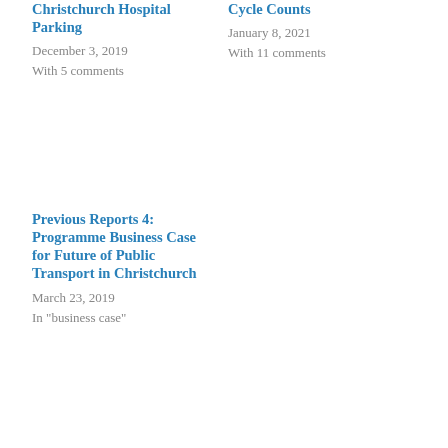Christchurch Hospital Parking
December 3, 2019
With 5 comments
Cycle Counts
January 8, 2021
With 11 comments
Previous Reports 4: Programme Business Case for Future of Public Transport in Christchurch
March 23, 2019
In "business case"